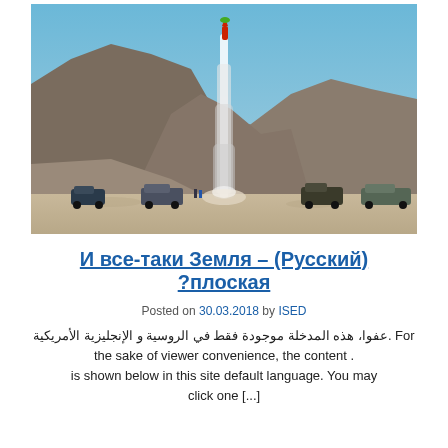[Figure (photo): A rocket launching vertically into a clear blue sky above rocky desert mountains, with vehicles and a few people visible at the ground level.]
И все-таки Земля – (Русский) ?плоская
Posted on 30.03.2018 by ISED
عفوا، هذه المدخلة موجودة فقط في الروسية و الإنجليزية الأمريكية. For the sake of viewer convenience, the content . is shown below in this site default language. You may click one [...]